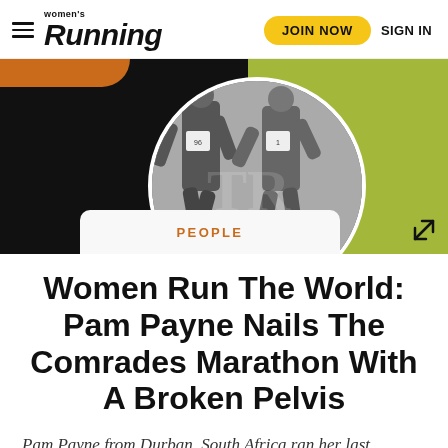Women's Running — JOIN NOW  SIGN IN
[Figure (photo): Hero image area showing runners in black-and-white circular crop against green and black geometric background]
PEOPLE
Women Run The World: Pam Payne Nails The Comrades Marathon With A Broken Pelvis
Pam Payne from Durban, South Africa ran her last Comrades Marathon with a broken pelvis. This year,